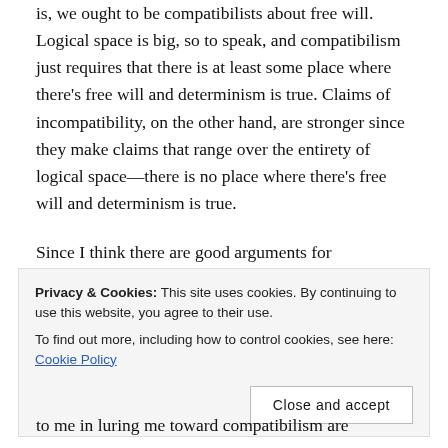is, we ought to be compatibilists about free will. Logical space is big, so to speak, and compatibilism just requires that there is at least some place where there's free will and determinism is true. Claims of incompatibility, on the other hand, are stronger since they make claims that range over the entirety of logical space—there is no place where there's free will and determinism is true.
Since I think there are good arguments for
Privacy & Cookies: This site uses cookies. By continuing to use this website, you agree to their use.
To find out more, including how to control cookies, see here: Cookie Policy
to me in luring me toward compatibilism are